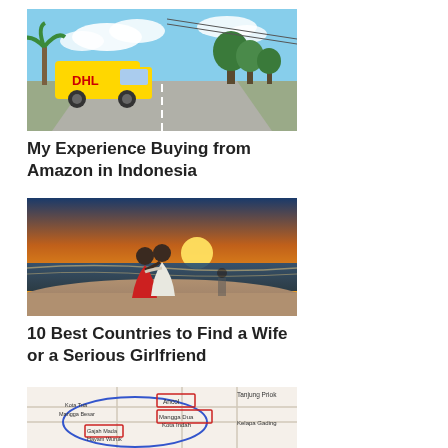[Figure (photo): A yellow DHL delivery van driving on an open road with trees and blue sky in the background]
My Experience Buying from Amazon in Indonesia
[Figure (photo): A couple kissing on a beach at sunset, woman in red dress, man in white shirt]
10 Best Countries to Find a Wife or a Serious Girlfriend
[Figure (map): A map showing areas of Jakarta including Ancol, Tanjung Priok, Kota Tua, Mangga Besar, Mangga Dua, Kota Indah, Gajah Mada, Hayam Wuruk, Kelapa Gading with blue oval annotation]